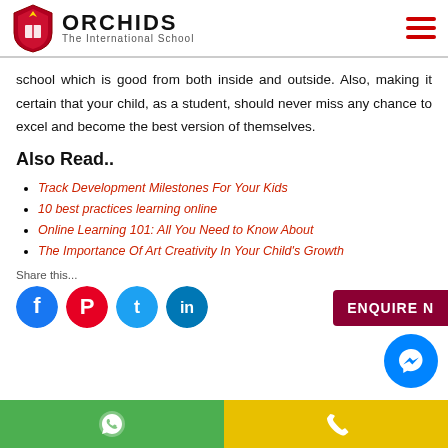ORCHIDS The International School
school which is good from both inside and outside. Also, making it certain that your child, as a student, should never miss any chance to excel and become the best version of themselves.
Also Read..
Track Development Milestones For Your Kids
10 best practices learning online
Online Learning 101: All You Need to Know About
The Importance Of Art Creativity In Your Child's Growth
Share this...
[Figure (infographic): Social media share icons: Facebook, Pinterest, Twitter, LinkedIn]